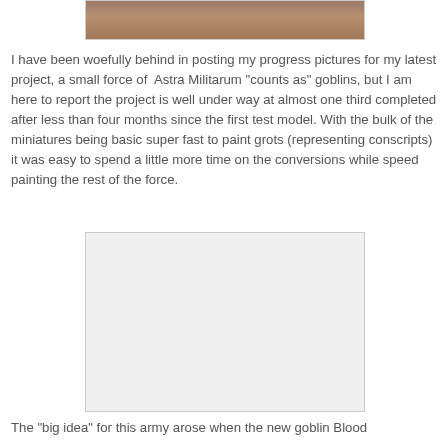[Figure (photo): Partial top image showing painted miniature figures with colorful details]
I have been woefully behind in posting my progress pictures for my latest project, a small force of  Astra Militarum "counts as" goblins, but I am here to report the project is well under way at almost one third completed after less than four months since the first test model. With the bulk of the miniatures being basic super fast to paint grots (representing conscripts) it was easy to spend a little more time on the conversions while speed painting the rest of the force.
[Figure (photo): Large white/blank image placeholder for a second progress photo]
The "big idea" for this army arose when the new goblin Blood